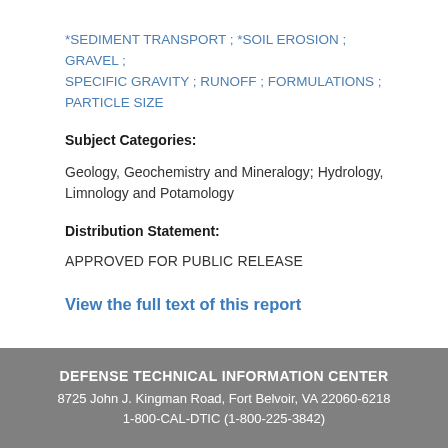*SEDIMENT TRANSPORT ; *SOIL EROSION ; GRAVEL ; SPECIFIC GRAVITY ; RUNOFF ; FORMULATIONS ; PARTICLE SIZE
Subject Categories:
Geology, Geochemistry and Mineralogy; Hydrology, Limnology and Potamology
Distribution Statement:
APPROVED FOR PUBLIC RELEASE
View the full text of this report
DEFENSE TECHNICAL INFORMATION CENTER
8725 John J. Kingman Road, Fort Belvoir, VA 22060-6218
1-800-CAL-DTIC (1-800-225-3842)